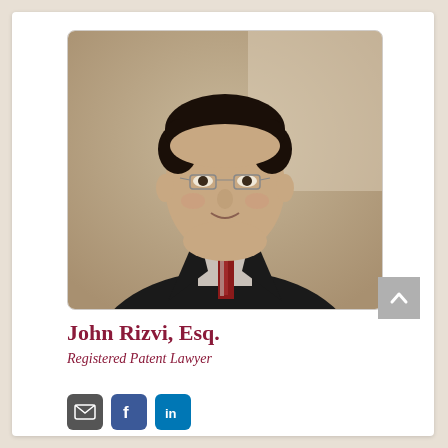[Figure (photo): Professional headshot of John Rizvi, Esq., a man in a dark suit with a red patterned tie and glasses, against a neutral beige/gray background.]
John Rizvi, Esq.
Registered Patent Lawyer
[Figure (other): Social media icons: email (envelope), Facebook, LinkedIn]